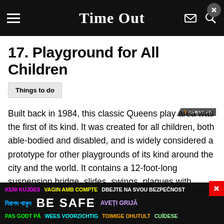Time Out
17. Playground for All Children
Things to do
Built back in 1984, this classic Queens play area was the first of its kind. It was created for all children, both able-bodied and disabled, and is widely considered a prototype for other playgrounds of its kind around the city and the world. It contains a 12-foot-long suspension bridge, slides, swings, plaques with braille and English, a water wheel area for kids needing to cool off and also a performance area. Feeling sporty? This playground offers a basketball court, an area for volleyball and other net type games, an…
KENI KUJDES VAGIN AMB COMPTE DBEJTE NA SVOU BEZPEČNOST নিরাপদ থাকুন BE SAFE AVEȚI GRIJĂ PAS GODT PÅ WEES VOORZICHTIG TOIMIGE OHUTULT CUÍDESE